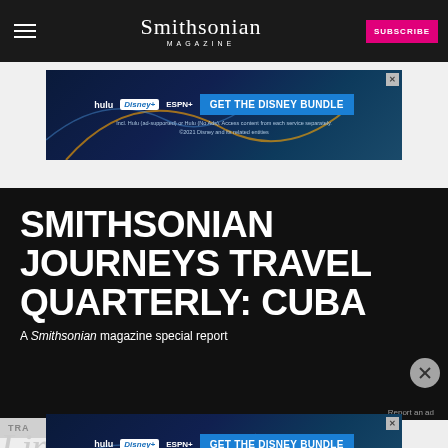Smithsonian MAGAZINE | SUBSCRIBE
[Figure (screenshot): Hulu Disney+ ESPN+ Get the Disney Bundle advertisement banner]
SMITHSONIAN JOURNEYS TRAVEL QUARTERLY: CUBA
A Smithsonian magazine special report
Report an ad
[Figure (screenshot): Hulu Disney+ ESPN+ Get the Disney Bundle advertisement banner (second instance)]
Lime Marinade, Comba